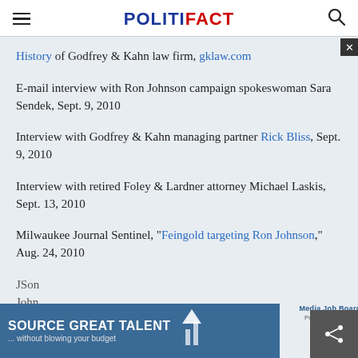POLITIFACT
History of Godfrey & Kahn law firm, gklaw.com
E-mail interview with Ron Johnson campaign spokeswoman Sara Sendek, Sept. 9, 2010
Interview with Godfrey & Kahn managing partner Rick Bliss, Sept. 9, 2010
Interview with retired Foley & Lardner attorney Michael Laskis, Sept. 13, 2010
Milwaukee Journal Sentinel, "Feingold targeting Ron Johnson,"  Aug. 24, 2010
JSON... Johnson...